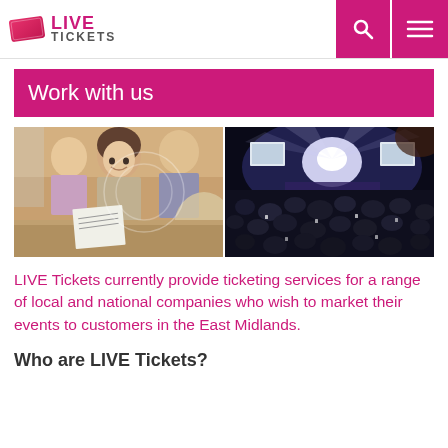LIVE TICKETS
Work with us
[Figure (photo): Two side-by-side photos: left shows a woman at a ticket booth handing tickets, right shows a large concert crowd with stage lighting at night]
LIVE Tickets currently provide ticketing services for a range of local and national companies who wish to market their events to customers in the East Midlands.
Who are LIVE Tickets?